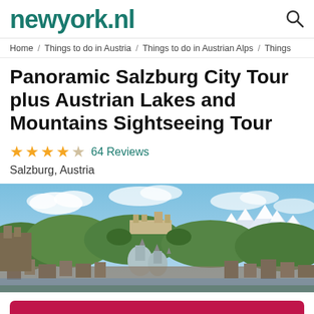newyork.nl
Home / Things to do in Austria / Things to do in Austrian Alps / Things
Panoramic Salzburg City Tour plus Austrian Lakes and Mountains Sightseeing Tour
4 stars, 64 Reviews, Salzburg, Austria
[Figure (photo): Panoramic photo of Salzburg city skyline with the fortress on the hill, cathedral spires, surrounding mountains with snow-capped peaks, and green trees under a partly cloudy blue sky.]
Check Availability